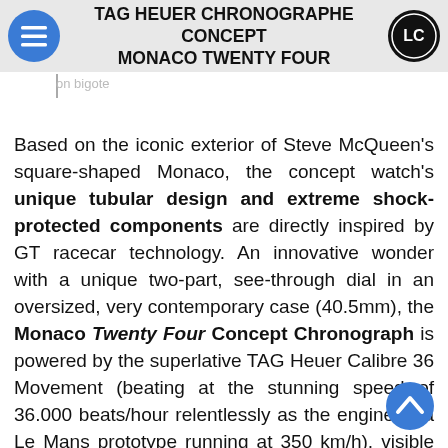TAG HEUER CHRONOGRAPHE CONCEPT MONACO TWENTY FOUR
Based on the iconic exterior of Steve McQueen's square-shaped Monaco, the concept watch's unique tubular design and extreme shock-protected components are directly inspired by GT racecar technology. An innovative wonder with a unique two-part, see-through dial in an oversized, very contemporary case (40.5mm), the Monaco Twenty Four Concept Chronograph is powered by the superlative TAG Heuer Calibre 36 Movement (beating at the stunning speed of 36.000 beats/hour relentlessly as the engine of a Le Mans prototype running at 350 km/h), visible from the front and through its sapphire crystal caseback. Seriously, sleek and high-